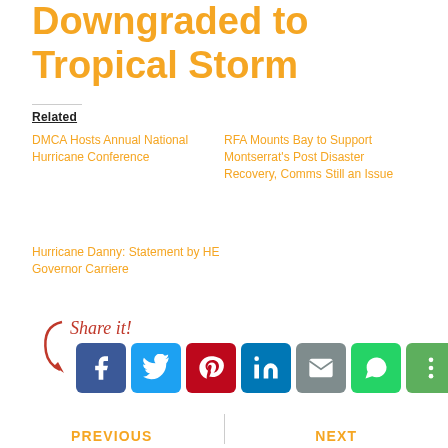Downgraded to Tropical Storm
Related
DMCA Hosts Annual National Hurricane Conference
RFA Mounts Bay to Support Montserrat's Post Disaster Recovery, Comms Still an Issue
Hurricane Danny: Statement by HE Governor Carriere
[Figure (infographic): Share it! social sharing buttons: Facebook, Twitter, Pinterest, LinkedIn, Email, WhatsApp, More]
PREVIOUS | NEXT